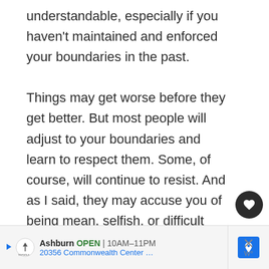understandable, especially if you haven't maintained and enforced your boundaries in the past.

Things may get worse before they get better. But most people will adjust to your boundaries and learn to respect them. Some, of course, will continue to resist. And as I said, they may accuse you of being mean, selfish, or difficult because they don't want to respect your boundaries.
[Figure (other): Advertisement bar for Topgolf Ashburn showing location open 10AM-11PM at 20356 Commonwealth Center with navigation icon and close button]